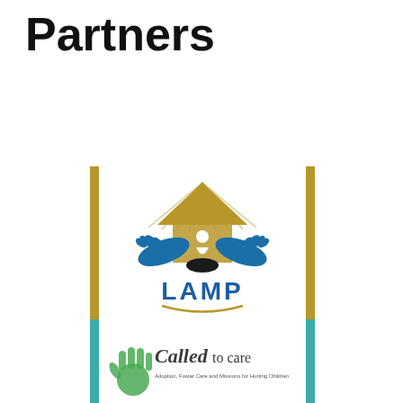Partners
[Figure (logo): LAMP logo: golden house/roof shape with radiating lines, two blue hands cradling a figure, with the word LAMP in blue below and a gold arc underline, flanked by two vertical gold bars]
[Figure (logo): Called to care logo: stylized hand print with 'Called to care' text and subtitle 'Adoption, Foster Care and Missions for Hurting Children', flanked by two vertical teal bars]